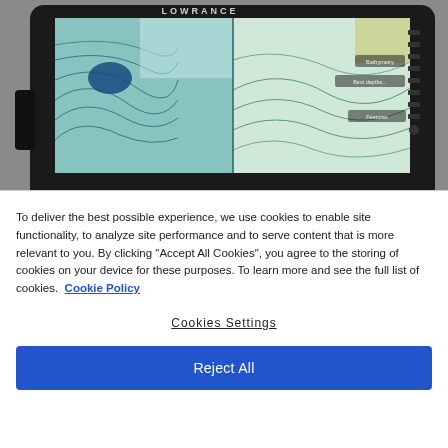[Figure (photo): Lowrance fish finder / chartplotter device displaying a nautical/bathymetric map with depth contour lines in teal and blue tones, shown against a gray background.]
To deliver the best possible experience, we use cookies to enable site functionality, to analyze site performance and to serve content that is more relevant to you. By clicking "Accept All Cookies", you agree to the storing of cookies on your device for these purposes. To learn more and see the full list of cookies. Cookie Policy
Cookies Settings
Reject All